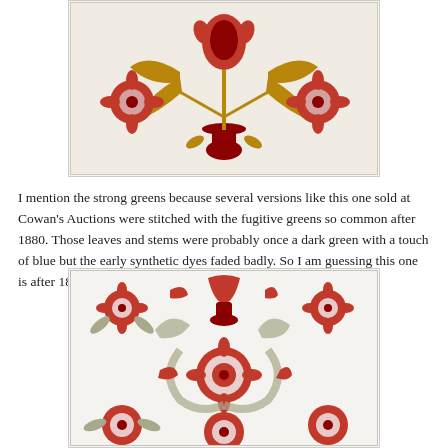[Figure (photo): A close-up photograph of a quilt with floral appliqué design featuring red flowers and golden-tan/brown leaves and stems on a white background, arranged in a repeating symmetrical pattern.]
I mention the strong greens because several versions like this one sold at Cowan's Auctions were stitched with the fugitive greens so common after 1880. Those leaves and stems were probably once a dark green with a touch of blue but the early synthetic dyes faded badly. So I am guessing this one is after 1880.
[Figure (photo): A photograph of a quilt with a repeating appliqué pattern featuring red floral and bird motifs with faded sage/grey-green leaves and stems on a white background, arranged in a grid-like symmetrical layout.]